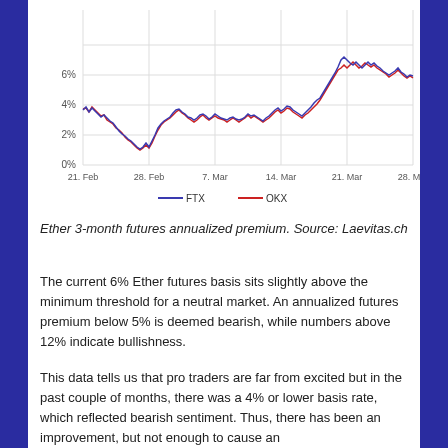[Figure (line-chart): Ether 3-month futures annualized premium]
Ether 3-month futures annualized premium. Source: Laevitas.ch
The current 6% Ether futures basis sits slightly above the minimum threshold for a neutral market. An annualized futures premium below 5% is deemed bearish, while numbers above 12% indicate bullishness.
This data tells us that pro traders are far from excited but in the past couple of months, there was a 4% or lower basis rate, which reflected bearish sentiment. Thus, there has been an improvement, but not enough to cause an